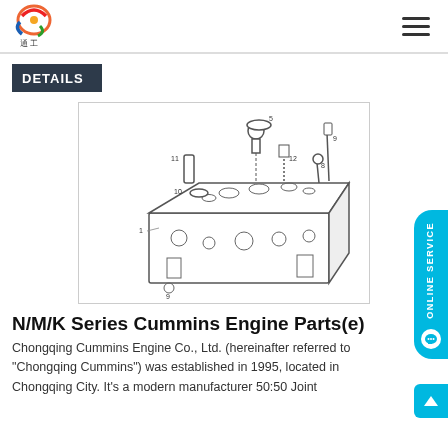Logo and navigation header
DETAILS
[Figure (engineering-diagram): Exploded view technical diagram of a Cummins engine cylinder head assembly with numbered parts (1, 5, 7, 8, 9, 10, 11, 12) showing valves, springs, seals and related components]
N/M/K Series Cummins Engine Parts(e)
Chongqing Cummins Engine Co., Ltd. (hereinafter referred to "Chongqing Cummins") was established in 1995, located in Chongqing City. It's a modern manufacturer 50:50 Joint